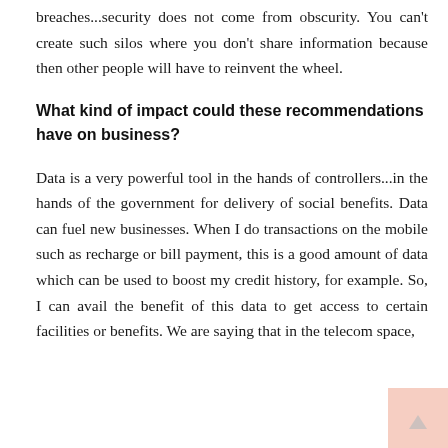breaches...security does not come from obscurity. You can't create such silos where you don't share information because then other people will have to reinvent the wheel.
What kind of impact could these recommendations have on business?
Data is a very powerful tool in the hands of controllers...in the hands of the government for delivery of social benefits. Data can fuel new businesses. When I do transactions on the mobile such as recharge or bill payment, this is a good amount of data which can be used to boost my credit history, for example. So, I can avail the benefit of this data to get access to certain facilities or benefits. We are saying that in the telecom space,